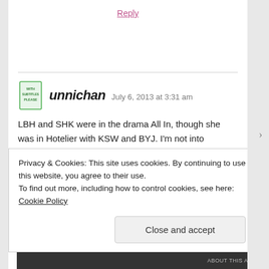Reply
unnichan  July 6, 2013 at 3:31 am
LBH and SHK were in the drama All In, though she was in Hotelier with KSW and BYJ. I'm not into gossip(though nowadays it's hard not to know
Privacy & Cookies: This site uses cookies. By continuing to use this website, you agree to their use.
To find out more, including how to control cookies, see here: Cookie Policy
Close and accept